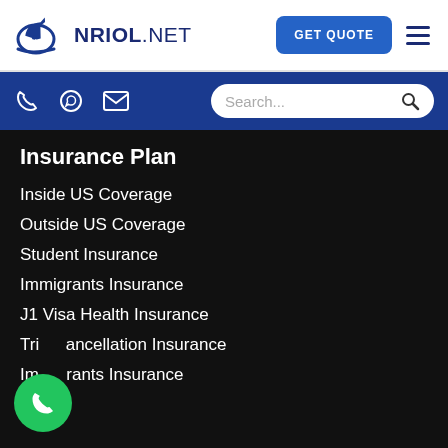[Figure (logo): NRIOL.NET logo with airplane and globe icon in blue]
[Figure (other): GET QUOTE button and hamburger menu]
[Figure (other): Blue toolbar with phone, whatsapp, email icons and search box]
Insurance Plan
Inside US Coverage
Outside US Coverage
Student Insurance
Immigrants Insurance
J1 Visa Health Insurance
Trip Cancellation Insurance
Immigrants Insurance
[Figure (other): Floating green phone call button]